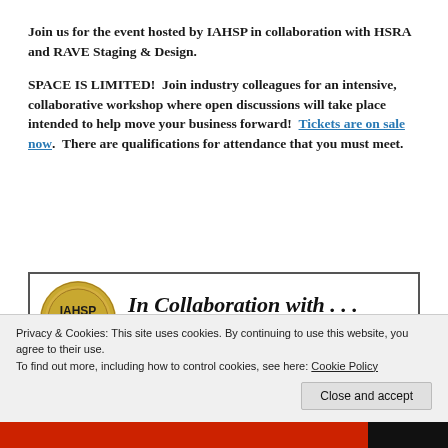Join us for the event hosted by IAHSP in collaboration with HSRA and RAVE Staging & Design.
SPACE IS LIMITED!  Join industry colleagues for an intensive, collaborative workshop where open discussions will take place intended to help move your business forward!  Tickets are on sale now.  There are qualifications for attendance that you must meet.
[Figure (other): Event banner showing IAHSP logo (circular gold seal with 'IAHSP International Association of Home Staging Professionals') and text 'In Collaboration with ...' followed by 'HSRA' in large letters]
Privacy & Cookies: This site uses cookies. By continuing to use this website, you agree to their use.
To find out more, including how to control cookies, see here: Cookie Policy
Close and accept